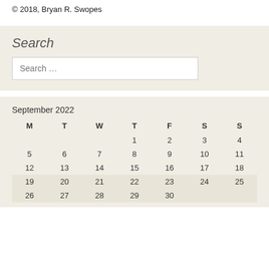© 2018, Bryan R. Swopes
Search
Search …
September 2022
| M | T | W | T | F | S | S |
| --- | --- | --- | --- | --- | --- | --- |
|  |  |  | 1 | 2 | 3 | 4 |
| 5 | 6 | 7 | 8 | 9 | 10 | 11 |
| 12 | 13 | 14 | 15 | 16 | 17 | 18 |
| 19 | 20 | 21 | 22 | 23 | 24 | 25 |
| 26 | 27 | 28 | 29 | 30 |  |  |